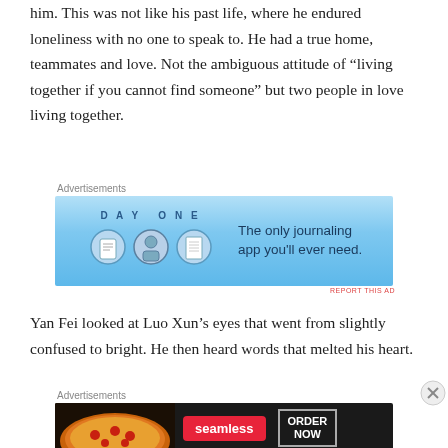him. This was not like his past life, where he endured loneliness with no one to speak to. He had a true home, teammates and love. Not the ambiguous attitude of “living together if you cannot find someone” but two people in love living together.
[Figure (other): Day One journaling app advertisement banner with blue gradient background, showing app icons and text: 'The only journaling app you’ll ever need.']
Yan Fei looked at Luo Xun’s eyes that went from slightly confused to bright. He then heard words that melted his heart.
[Figure (other): Seamless food delivery advertisement with dark background, pizza image, red Seamless logo pill, and 'ORDER NOW' button.]